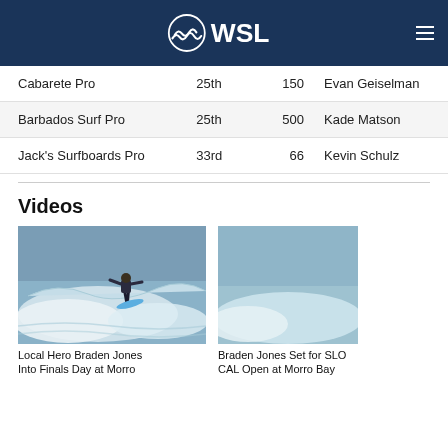WSL
| Cabarete Pro | 25th | 150 | Evan Geiselman |
| Barbados Surf Pro | 25th | 500 | Kade Matson |
| Jack's Surfboards Pro | 33rd | 66 | Kevin Schulz |
Videos
[Figure (photo): Surfer on a wave at a surfing competition, performing an aerial maneuver with a blue surfboard]
Local Hero Braden Jones Into Finals Day at Morro
Braden Jones Set for SLO CAL Open at Morro Bay